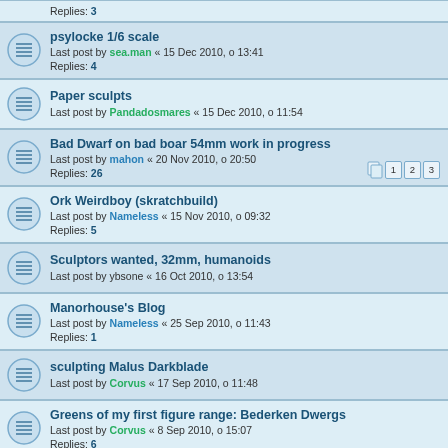Replies: 3
psylocke 1/6 scale
Last post by sea.man « 15 Dec 2010, o 13:41
Replies: 4
Paper sculpts
Last post by Pandadosmares « 15 Dec 2010, o 11:54
Bad Dwarf on bad boar 54mm work in progress
Last post by mahon « 20 Nov 2010, o 20:50
Replies: 26
Ork Weirdboy (skratchbuild)
Last post by Nameless « 15 Nov 2010, o 09:32
Replies: 5
Sculptors wanted, 32mm, humanoids
Last post by ybsone « 16 Oct 2010, o 13:54
Manorhouse's Blog
Last post by Nameless « 25 Sep 2010, o 11:43
Replies: 1
sculpting Malus Darkblade
Last post by Corvus « 17 Sep 2010, o 11:48
Greens of my first figure range: Bederken Dwergs
Last post by Corvus « 8 Sep 2010, o 15:07
Replies: 6
Dante 2010
Last post by arctica « 18 Aug 2010, o 13:19
Replies: 4